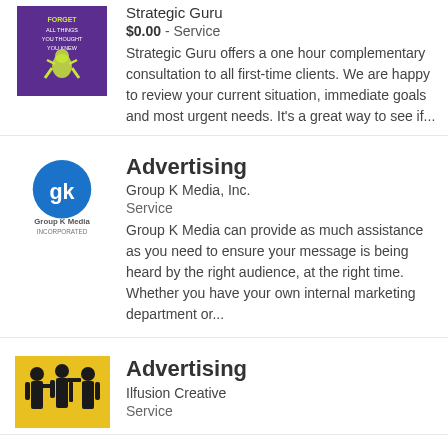[Figure (illustration): Purple book cover with text 'Forget All Things You Thought You Knew' and a cartoon character]
Strategic Guru
$0.00 - Service
Strategic Guru offers a one hour complementary consultation to all first-time clients. We are happy to review your current situation, immediate goals and most urgent needs. It's a great way to see if...
[Figure (logo): Group K Media, Inc. logo - blue circle with stylized 'gk' letters, text below]
Advertising
Group K Media, Inc.
Service
Group K Media can provide as much assistance as you need to ensure your message is being heard by the right audience, at the right time. Whether you have your own internal marketing department or...
[Figure (illustration): Yellow background image with silhouettes of three people carrying equipment]
Advertising
Ilfusion Creative
Service